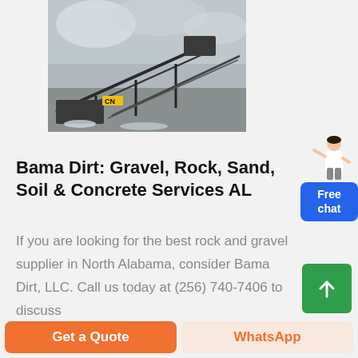[Figure (photo): Industrial rock crushing / quarry machinery with conveyor belts, dusty quarry environment, CN logo badge in yellow]
Bama Dirt: Gravel, Rock, Sand, Soil & Concrete Services AL
If you are looking for the best rock and gravel supplier in North Alabama, consider Bama Dirt, LLC. Call us today at (256) 740-7406 to discuss